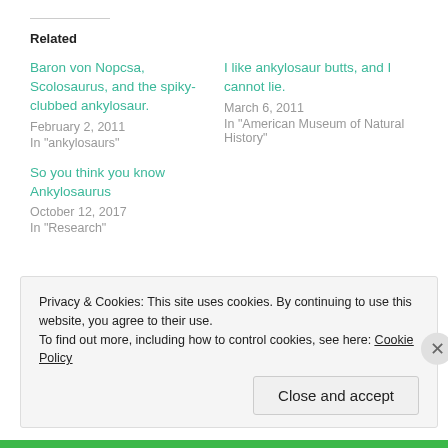Related
Baron von Nopcsa, Scolosaurus, and the spiky-clubbed ankylosaur.
February 2, 2011
In "ankylosaurs"
I like ankylosaur butts, and I cannot lie.
March 6, 2011
In "American Museum of Natural History"
So you think you know Ankylosaurus
October 12, 2017
In "Research"
Privacy & Cookies: This site uses cookies. By continuing to use this website, you agree to their use.
To find out more, including how to control cookies, see here: Cookie Policy
Close and accept